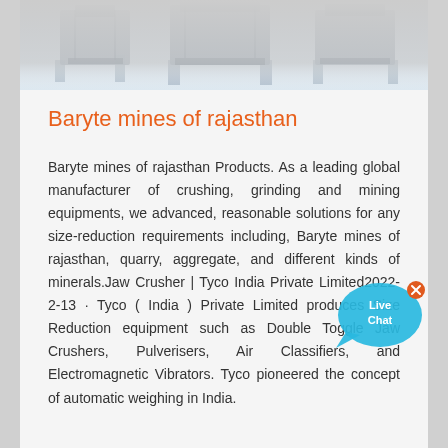[Figure (photo): Industrial crushing/mining machinery photographed from below against sky, faded banner image at top of page]
Baryte mines of rajasthan
[Figure (illustration): Live Chat bubble icon in blue with white text 'Live Chat' and a small X close button]
Baryte mines of rajasthan Products. As a leading global manufacturer of crushing, grinding and mining equipments, we advanced, reasonable solutions for any size-reduction requirements including, Baryte mines of rajasthan, quarry, aggregate, and different kinds of minerals.Jaw Crusher | Tyco India Private Limited2022-2-13 · Tyco ( India ) Private Limited produces Size Reduction equipment such as Double Toggle Jaw Crushers, Pulverisers, Air Classifiers, and Electromagnetic Vibrators. Tyco pioneered the concept of automatic weighing in India.